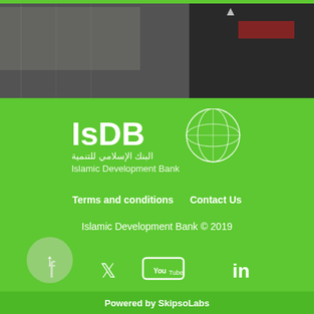[Figure (photo): Background photo of city/building scene with dark overlay, partially visible]
[Figure (logo): IsDB Islamic Development Bank logo with globe icon, white text on green background, includes Arabic text البنك الإسلامي للتنمية]
Terms and conditions     Contact Us
Islamic Development Bank © 2019
[Figure (infographic): Social media icons: Facebook, Twitter, YouTube, LinkedIn in white on green background]
Powered by SkipsoLabs